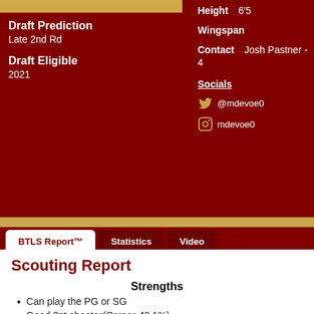Height   6'5
Wingspan
Contact   Josh Pastner - 4
Socials
@mdevoe0
mdevoe0
Draft Prediction
Late 2nd Rd
Draft Eligible
2021
BTLS Report™   Statistics   Video
Scouting Report
Strengths
Can play the PG or SG
Good 3pt shooter (Career 42.1%)